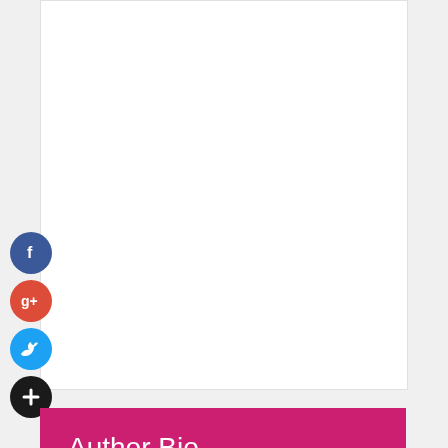[Figure (other): White content area with social media sharing icons on the left side: Facebook (blue circle), Google+ (red circle), Twitter (blue circle), and a black plus/more circle]
Author Bio